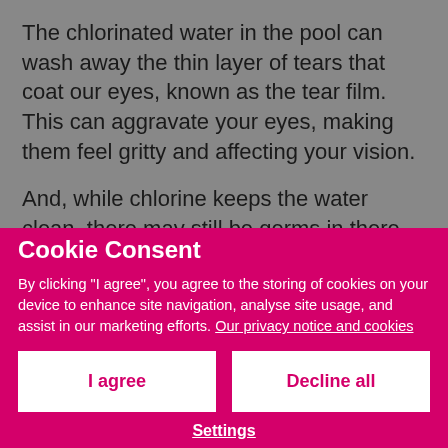The chlorinated water in the pool can wash away the thin layer of tears that coat our eyes, known as the tear film. This can aggravate your eyes, making them feel gritty and affecting your vision.
And, while chlorine keeps the water clean, there may still be germs in there. Make sure you stick to facilities you know you can trust and which regularly monitor water quality.
The same goes for swimming in the sea, the salty water or prolonged swimming underwater. Both activities mean your eyes open unless you're wearing well-fitted goggles. Apply eye drops before and after swimming to...
Cookie Consent
By clicking "I agree", you agree to the storing of cookies on your device to enhance site navigation, analyse site usage, and assist in our marketing efforts. Our privacy notice and cookies
I agree
Decline all
Settings
3. Watch what you get in your eyes
If you get sun cream in your eye, the chemical lotion can irritate the surface of the eye. Apply your